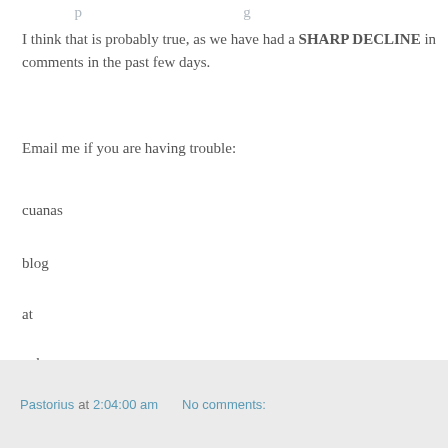I think that is probably true, as we have had a SHARP DECLINE in comments in the past few days.
Email me if you are having trouble:
cuanas
blog
at
yahoo
dot
com
Pastorius at 2:04:00 am   No comments: